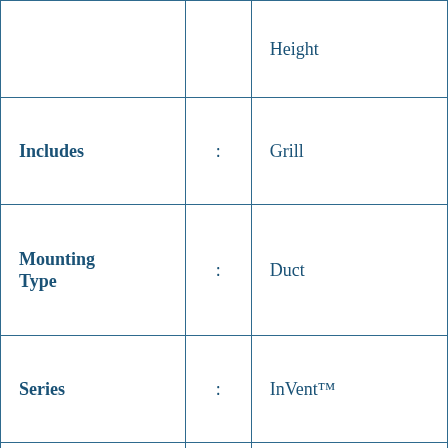| Attribute |  | Value |
| --- | --- | --- |
|  | : | Height |
| Includes | : | Grill |
| Mounting Type | : | Duct |
| Series | : | InVent™ |
| Sound Level | : | 2 sones |
| Speed | : | Single |
| Voltage | : | 120 VAC |